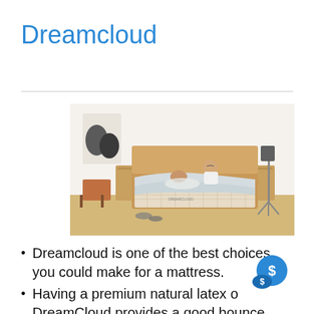Dreamcloud
[Figure (photo): A couple relaxing in bed with a DreamCloud mattress visible, in a modern bedroom setting with wooden furniture, a floor lamp, and decorative wall art.]
Dreamcloud is one of the best choices you could make for a mattress.
Having a premium natural latex on DreamCloud provides a good bounce, and extra contour...